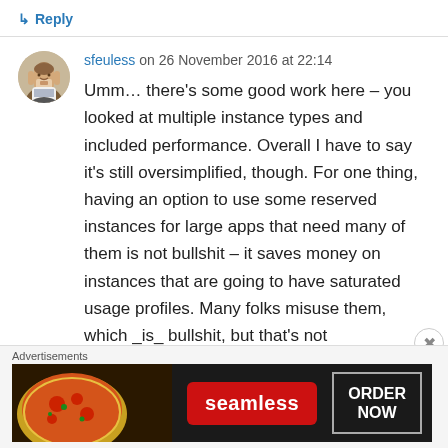↳ Reply
sfeuless on 26 November 2016 at 22:14
Umm… there's some good work here – you looked at multiple instance types and included performance. Overall I have to say it's still oversimplified, though. For one thing, having an option to use some reserved instances for large apps that need many of them is not bullshit – it saves money on instances that are going to have saturated usage profiles. Many folks misuse them, which _is_ bullshit, but that's not
Advertisements
[Figure (infographic): Seamless food delivery advertisement banner with pizza image, Seamless logo, and ORDER NOW button]